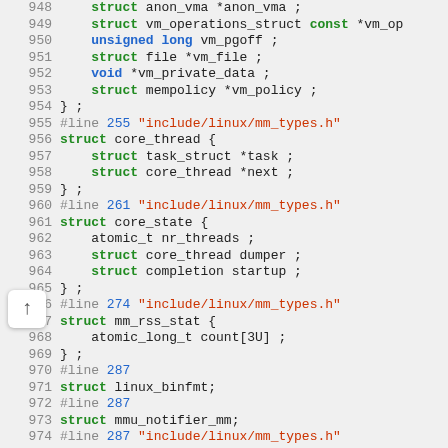[Figure (screenshot): Syntax-highlighted C source code showing struct definitions from a Linux kernel header file, with line numbers 948-978. Keywords 'struct', 'void', 'unsigned long', 'const' are bold green; '#line' preprocessor directives are grey with blue line numbers and red quoted filenames; identifiers are dark; punctuation is dark.]